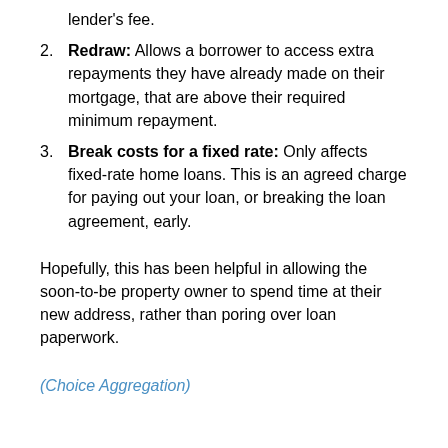lender's fee.
Redraw: Allows a borrower to access extra repayments they have already made on their mortgage, that are above their required minimum repayment.
Break costs for a fixed rate: Only affects fixed-rate home loans. This is an agreed charge for paying out your loan, or breaking the loan agreement, early.
Hopefully, this has been helpful in allowing the soon-to-be property owner to spend time at their new address, rather than poring over loan paperwork.
(Choice Aggregation)